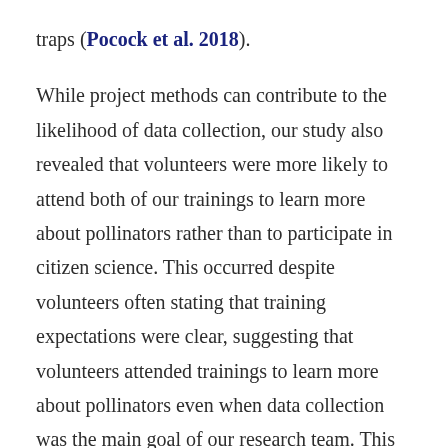traps (Pocock et al. 2018).

While project methods can contribute to the likelihood of data collection, our study also revealed that volunteers were more likely to attend both of our trainings to learn more about pollinators rather than to participate in citizen science. This occurred despite volunteers often stating that training expectations were clear, suggesting that volunteers attended trainings to learn more about pollinators even when data collection was the main goal of our research team. This finding further indicates that the motivations for volunteerism may vary strongly across citizen science projects (Bonney et al. 2009; Sullivan et al. 2009; Dickinson et al. 2012; Wright et al. 2015; Lucrezi et al.